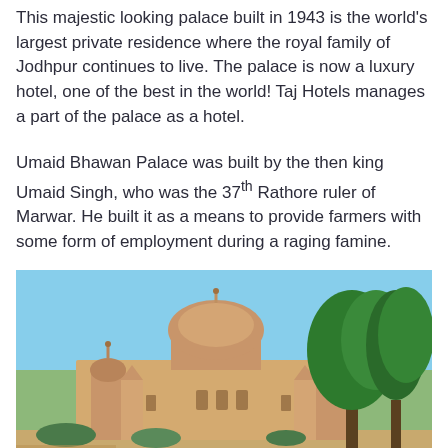This majestic looking palace built in 1943 is the world's largest private residence where the royal family of Jodhpur continues to live. The palace is now a luxury hotel, one of the best in the world! Taj Hotels manages a part of the palace as a hotel.
Umaid Bhawan Palace was built by the then king Umaid Singh, who was the 37th Rathore ruler of Marwar. He built it as a means to provide farmers with some form of employment during a raging famine.
[Figure (photo): Exterior photo of Umaid Bhawan Palace showing the grand domed sandstone structure with ornate towers and spires against a clear blue sky, with green trees visible on the right side.]